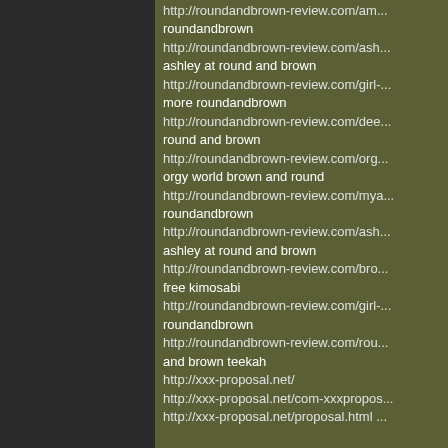http://roundandbrown-review.com/am...
roundandbrown
http://roundandbrown-review.com/ash...
ashley at round and brown
http://roundandbrown-review.com/girl-...
more roundandbrown
http://roundandbrown-review.com/dee...
round and brown
http://roundandbrown-review.com/org...
orgy world brown and round
http://roundandbrown-review.com/mya...
roundandbrown
http://roundandbrown-review.com/ash...
ashley at round and brown
http://roundandbrown-review.com/bro...
free kimosabi
http://roundandbrown-review.com/girl-...
roundandbrown
http://roundandbrown-review.com/rou...
and brown teekah
http://xxx-proposal.net/
http://xxx-proposal.net/com-xxxpropos...
http://xxx-proposal.net/proposal.html ...